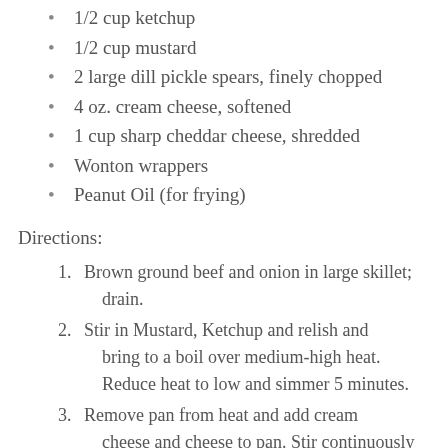1/2 cup ketchup
1/2 cup mustard
2 large dill pickle spears, finely chopped
4 oz. cream cheese, softened
1 cup sharp cheddar cheese, shredded
Wonton wrappers
Peanut Oil (for frying)
Directions:
Brown ground beef and onion in large skillet; drain.
Stir in Mustard, Ketchup and relish and bring to a boil over medium-high heat. Reduce heat to low and simmer 5 minutes.
Remove pan from heat and add cream cheese and cheese to pan. Stir continuously